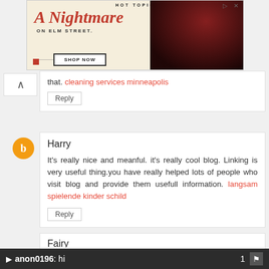[Figure (screenshot): Hot Topic advertisement banner for A Nightmare on Elm Street merchandise with Shop Now button]
that. cleaning services minneapolis
Reply
Harry
It's really nice and meanful. it's really cool blog. Linking is very useful thing.you have really helped lots of people who visit blog and provide them usefull information. langsam spielende kinder schild
Reply
Fairy
If your looking for Online Illinois license plate
anon0196: hi   1